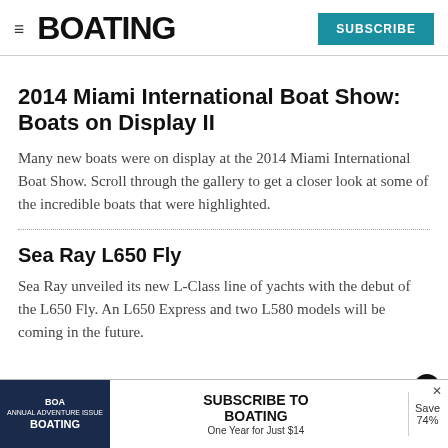BOATING | SUBSCRIBE
2014 Miami International Boat Show: Boats on Display II
Many new boats were on display at the 2014 Miami International Boat Show. Scroll through the gallery to get a closer look at some of the incredible boats that were highlighted.
Sea Ray L650 Fly
Sea Ray unveiled its new L-Class line of yachts with the debut of the L650 Fly. An L650 Express and two L580 models will be coming in the future.
[Figure (other): Advertisement banner: Subscribe to Boating magazine - One Year for Just $14, Save 74%]